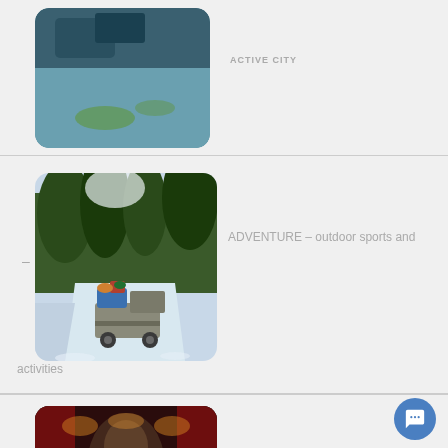[Figure (photo): Partial view of a duck or bird on water, cropped at top]
[Figure (photo): Winter outdoor scene with a pickup truck carrying people with backpacks on a snow-covered road surrounded by pine trees]
ADVENTURE – outdoor sports and activities
[Figure (photo): Theater or concert stage scene with performers under warm red/orange lighting and a large portrait backdrop]
CULTURE